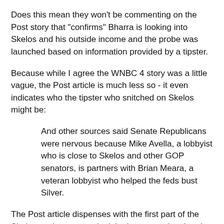Does this mean they won't be commenting on the Post story that "confirms" Bharra is looking into Skelos and his outside income and the probe was launched based on information provided by a tipster.
Because while I agree the WNBC 4 story was a little vague, the Post article is much less so - it even indicates who the tipster who snitched on Skelos might be:
And other sources said Senate Republicans were nervous because Mike Avella, a lobbyist who is close to Skelos and other GOP senators, is partners with Brian Meara, a veteran lobbyist who helped the feds bust Silver.
The Post article dispenses with the first part of the Skelos spokesperson denial - the accusation that the NBC 4 report is "thinly sourced" and "irresponsible."
As to the second, that Skelos can't be under investigation